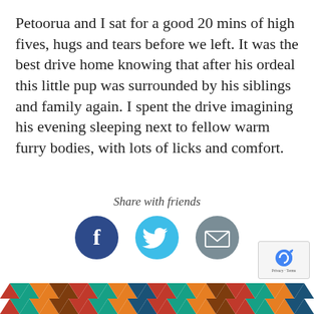Petoorua and I sat for a good 20 mins of high fives, hugs and tears before we left. It was the best drive home knowing that after his ordeal this little pup was surrounded by his siblings and family again. I spent the drive imagining his evening sleeping next to fellow warm furry bodies, with lots of licks and comfort.
Share with friends
[Figure (infographic): Three social share buttons: Facebook (dark blue circle with white f), Twitter (cyan circle with white bird), Email (grey circle with white envelope)]
[Figure (other): reCAPTCHA badge with Privacy and Terms links]
[Figure (other): Colourful zigzag/chevron pattern footer in red, teal, orange, dark green, dark red colours]